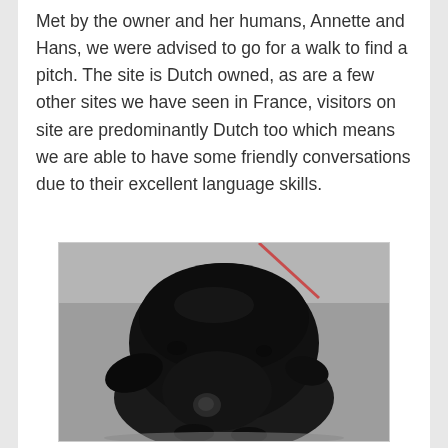Met by the owner and her humans, Annette and Hans, we were advised to go for a walk to find a pitch. The site is Dutch owned, as are a few other sites we have seen in France, visitors on site are predominantly Dutch too which means we are able to have some friendly conversations due to their excellent language skills.
[Figure (photo): Close-up photo of a black Labrador dog viewed from above, sitting on a grey pavement/ground surface. The dog's head and upper body are visible, with a red leash partially visible in the upper portion of the image.]